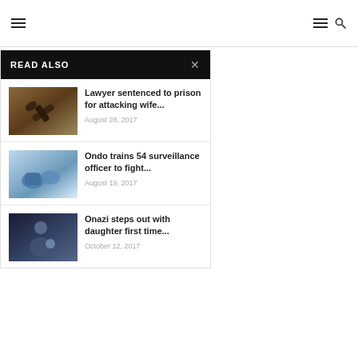Navigation header with hamburger menu and search icon
READ ALSO
Lawyer sentenced to prison for attacking wife... — August 28, 2017
Ondo trains 54 surveillance officer to fight... — August 19, 2017
Onazi steps out with daughter first time... — October 12, 2017